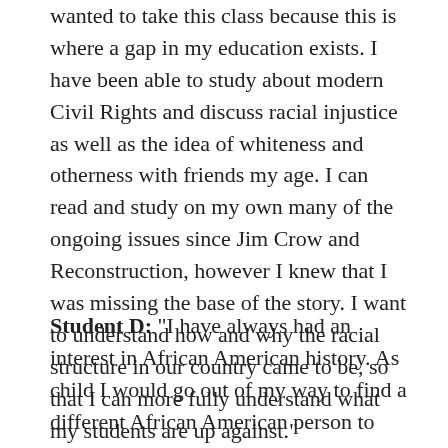wanted to take this class because this is where a gap in my education exists. I have been able to study about modern Civil Rights and discuss racial injustice as well as the idea of whiteness and otherness with friends my age. I can read and study on my own many of the ongoing issues since Jim Crow and Reconstruction, however I knew that I was missing the base of the story. I want to understand how and why the racial structure in our country came to be, so that I can more fully understand what my students are up against."
Student D: "I have always had an interest in African American history. As child I would go out of my way to find a different African American person to